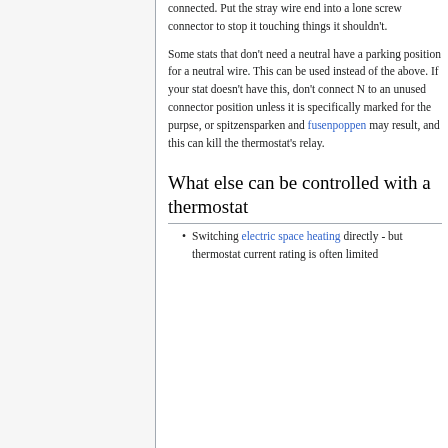connected. Put the stray wire end into a lone screw connector to stop it touching things it shouldn't.
Some stats that don't need a neutral have a parking position for a neutral wire. This can be used instead of the above. If your stat doesn't have this, don't connect N to an unused connector position unless it is specifically marked for the purpse, or spitzensparken and fusenpoppen may result, and this can kill the thermostat's relay.
What else can be controlled with a thermostat
Switching electric space heating directly - but thermostat current rating is often limited